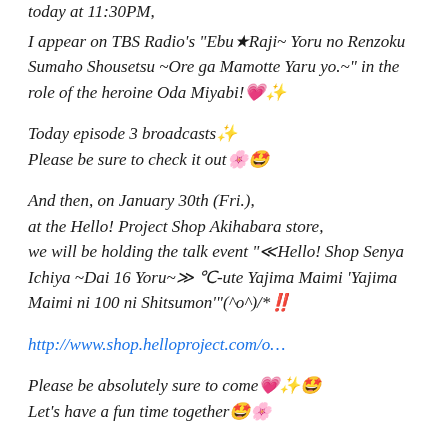today at 11:30PM,
I appear on TBS Radio's “Ebu★Raji~ Yoru no Renzoku Sumaho Shousetsu ~Ore ga Mamotte Yaru yo.~” in the role of the heroine Oda Miyabi!💗✨
Today episode 3 broadcasts✨
Please be sure to check it out🌸🥳
And then, on January 30th (Fri.),
at the Hello! Project Shop Akihabara store,
we will be holding the talk event “«Hello! Shop Senya Ichiya ~Dai 16 Yoru~» °C-ute Yajima Maimi ‘Yajima Maimi ni 100 ni Shitsumon’”(^o^)/*‼️
http://www.shop.helloproject.com/o…
Please be absolutely sure to come💗✨🥳
Let's have a fun time together🥳🌸